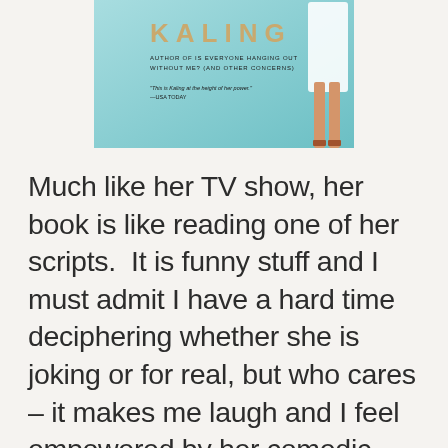[Figure (illustration): Partial view of a book cover for a Mindy Kaling book, light teal/aqua background, gold lettering showing 'KALING', subtitle text 'Author of Is Everyone Hanging Out Without Me? (and Other Concerns)', a quote 'This is Kaling at the height of her power. — USA TODAY', and a partial figure of a woman in a white dress on the right side.]
Much like her TV show, her book is like reading one of her scripts.  It is funny stuff and I must admit I have a hard time deciphering whether she is joking or for real, but who cares – it makes me laugh and I feel empowered by her comedic words tainted with confidence